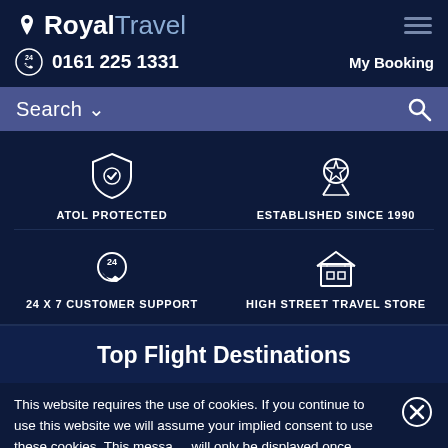[Figure (screenshot): Royal Travel website screenshot showing logo, phone number, search bar, trust badges, top flight destinations section, and cookie consent banner]
Royal Travel — 0161 225 1331 — My Booking
Search
ATOL PROTECTED
ESTABLISHED SINCE 1990
24 X 7 CUSTOMER SUPPORT
HIGH STREET TRAVEL STORE
Top Flight Destinations
This website requires the use of cookies. If you continue to use this website we will assume your implied consent to use these cookies. This message will only be displayed once.